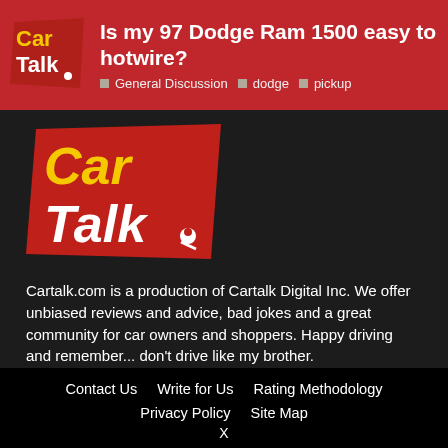Is my 97 Dodge Ram 1500 easy to hotwire? General Discussion dodge pickup
[Figure (logo): Car Talk logo - red trapezoid shape with yellow 'Car' and white 'Talk' text with a small mechanic figure]
Cartalk.com is a production of Cartalk Digital Inc. We offer unbiased reviews and advice, bad jokes and a great community for car owners and shoppers. Happy driving and remember... don't drive like my brother.
Contact Us   Write for Us   Rating Methodology   Privacy Policy   Site Map   X